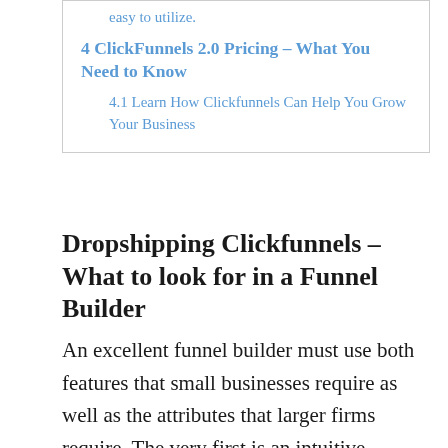easy to utilize.
4 ClickFunnels 2.0 Pricing – What You Need to Know
4.1 Learn How Clickfunnels Can Help You Grow Your Business
Dropshipping Clickfunnels – What to look for in a Funnel Builder
An excellent funnel builder must use both features that small businesses require as well as the attributes that larger firms require. The very first is an intuitive interface. The second is a durable function set. The third combines a powerful e-mail